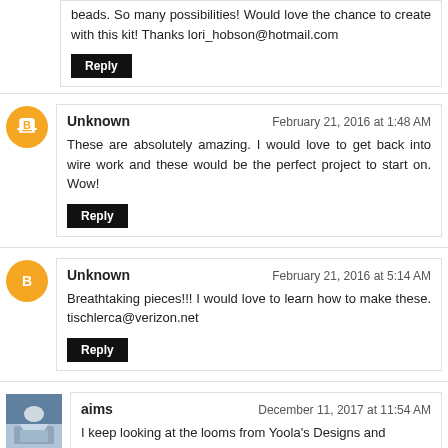beads. So many possibilities! Would love the chance to create with this kit! Thanks lori_hobson@hotmail.com
Reply
Unknown · February 21, 2016 at 1:48 AM
These are absolutely amazing. I would love to get back into wire work and these would be the perfect project to start on. Wow!
Reply
Unknown · February 21, 2016 at 5:14 AM
Breathtaking pieces!!! I would love to learn how to make these. tischlerca@verizon.net
Reply
aims · December 11, 2017 at 11:54 AM
I keep looking at the looms from Yoola's Designs and